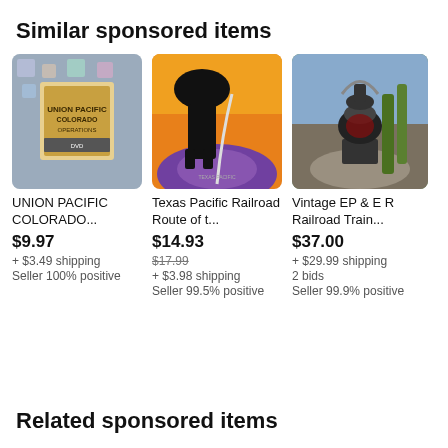Similar sponsored items
[Figure (photo): Photo of Union Pacific Colorado DVD on a patterned quilt]
UNION PACIFIC COLORADO...
$9.97
+ $3.49 shipping
Seller 100% positive
[Figure (photo): Texas Pacific Railroad Route poster with cowboy silhouette on orange background]
Texas Pacific Railroad Route of t...
$14.93
$17.99
+ $3.98 shipping
Seller 99.5% positive
[Figure (photo): Vintage EP & E Railroad Train lantern in outdoor garden setting]
Vintage EP & E R Railroad Train...
$37.00
+ $29.99 shipping
2 bids
Seller 99.9% positive
Related sponsored items